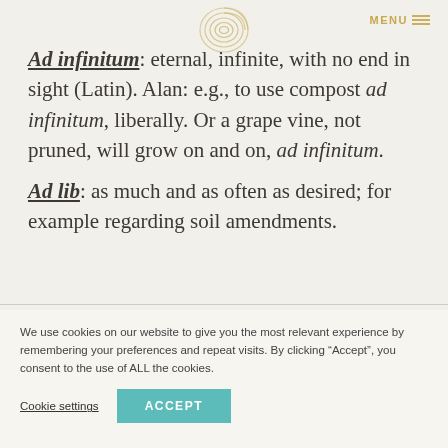MENU
Ad infinitum: eternal, infinite, with no end in sight (Latin). Alan: e.g., to use compost ad infinitum, liberally. Or a grape vine, not pruned, will grow on and on, ad infinitum.
Ad lib: as much and as often as desired; for example regarding soil amendments.
We use cookies on our website to give you the most relevant experience by remembering your preferences and repeat visits. By clicking “Accept”, you consent to the use of ALL the cookies.
Cookie settings
ACCEPT